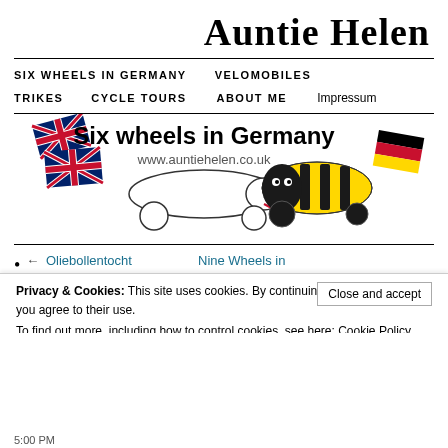Auntie Helen
SIX WHEELS IN GERMANY   VELOMOBILES   TRIKES   CYCLE TOURS   ABOUT ME   Impressum
[Figure (illustration): Banner image reading 'Six wheels in Germany www.auntiehelen.co.uk' with Union Jack flags, a recumbent cycle velomobile, and a bee-themed velomobile with German flag]
← Oliebollentocht
Nine Wheels in
Privacy & Cookies: This site uses cookies. By continuing to use this website, you agree to their use. To find out more, including how to control cookies, see here: Cookie Policy
Close and accept
Translate »
5:00 PM